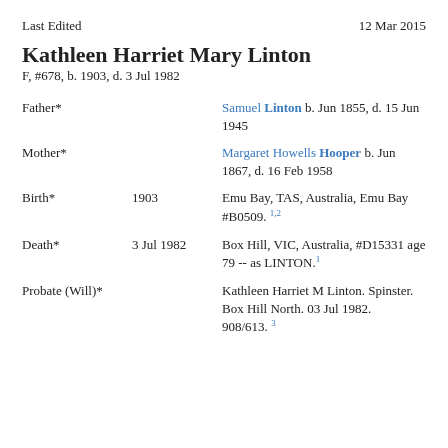Last Edited    12 Mar 2015
Kathleen Harriet Mary Linton
F, #678, b. 1903, d. 3 Jul 1982
| Field | Date | Detail |
| --- | --- | --- |
| Father* |  | Samuel Linton b. Jun 1855, d. 15 Jun 1945 |
| Mother* |  | Margaret Howells Hooper b. Jun 1867, d. 16 Feb 1958 |
| Birth* | 1903 | Emu Bay, TAS, Australia, Emu Bay #B0509. 1,2 |
| Death* | 3 Jul 1982 | Box Hill, VIC, Australia, #D15331 age 79 -- as LINTON. 1 |
| Probate (Will)* |  | Kathleen Harriet M Linton. Spinster. Box Hill North. 03 Jul 1982. 908/613. 3 |